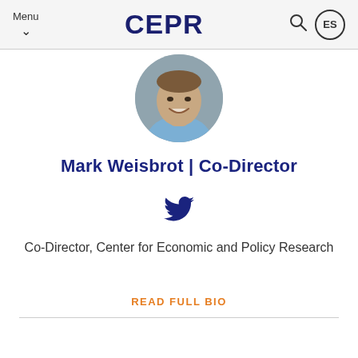Menu | CEPR | ES
[Figure (photo): Circular profile photo of Mark Weisbrot, a smiling man in a blue shirt, gray background]
Mark Weisbrot | Co-Director
[Figure (other): Twitter bird icon in dark navy blue]
Co-Director, Center for Economic and Policy Research
READ FULL BIO